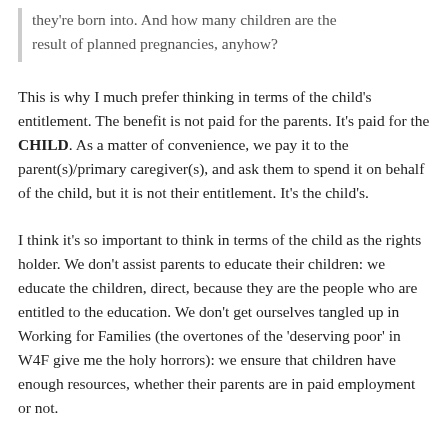they're born into. And how many children are the result of planned pregnancies, anyhow?
This is why I much prefer thinking in terms of the child's entitlement. The benefit is not paid for the parents. It's paid for the CHILD. As a matter of convenience, we pay it to the parent(s)/primary caregiver(s), and ask them to spend it on behalf of the child, but it is not their entitlement. It's the child's.
I think it's so important to think in terms of the child as the rights holder. We don't assist parents to educate their children: we educate the children, direct, because they are the people who are entitled to the education. We don't get ourselves tangled up in Working for Families (the overtones of the 'deserving poor' in W4F give me the holy horrors): we ensure that children have enough resources, whether their parents are in paid employment or not.
Children are people too.